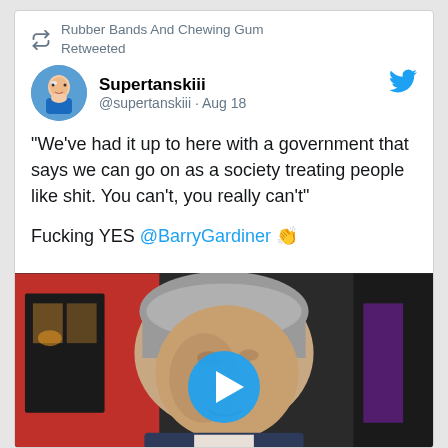Rubber Bands And Chewing Gum Retweeted
Supertanskiii @supertanskiii · Aug 18
"We've had it up to here with a government that says we can go on as a society treating people like shit. You can't, you really can't"

Fucking YES @BarryGardiner 👏
[Figure (photo): Video thumbnail showing a middle-aged man with grey hair being interviewed outdoors, with a red background and a circular blue play button overlay in the center]